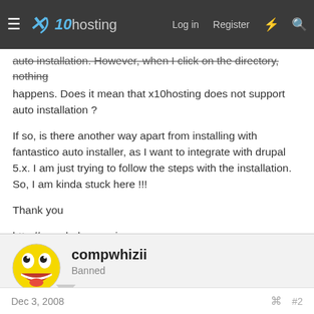x10hosting — Log in  Register
auto installation. However, when I click on the directory, nothing happens. Does it mean that x10hosting does not support auto installation ?

If so, is there another way apart from installing with fantastico auto installer, as I want to integrate with drupal 5.x. I am just trying to follow the steps with the installation. So, I am kinda stuck here !!!

Thank you

http://www.holeepassion.com
administrator
compwhizii
Banned
Dec 3, 2008  #2